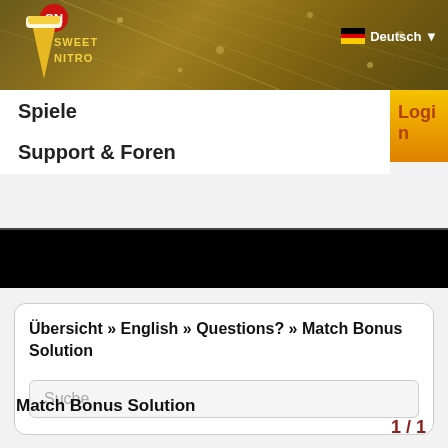Sweet Nitro
Deutsch
Spiele
Support & Foren
Login
Übersicht » English » Questions? » Match Bonus Solution
Suche
Match Bonus Solution
1 / 1